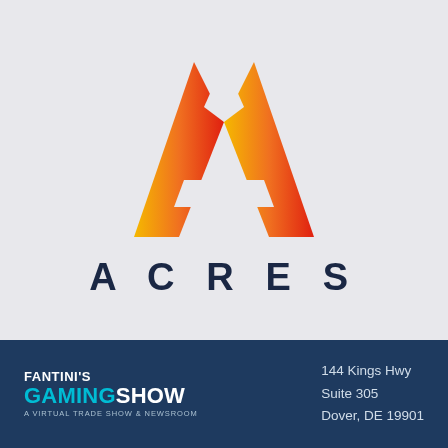[Figure (logo): ACRES logo: stylized letter A shape with gradient from yellow-orange on left to red on right, with a triangular cutout near the top forming an arrow shape]
ACRES
[Figure (logo): Fantini's Gaming Show logo - white FANTINI'S text above cyan/teal GAMING and white SHOW text, with subtitle A VIRTUAL TRADE SHOW & NEWSROOM]
144 Kings Hwy
Suite 305
Dover, DE 19901